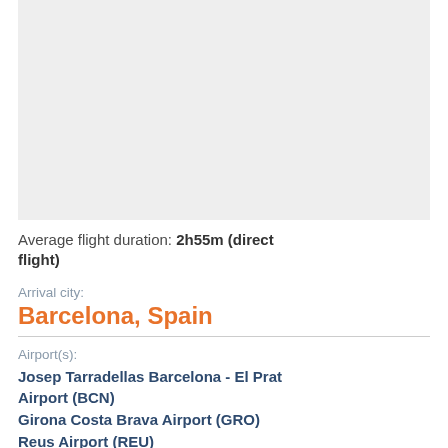[Figure (map): Map placeholder showing a geographic region in light gray]
Average flight duration: 2h55m (direct flight)
Arrival city:
Barcelona, Spain
Airport(s):
Josep Tarradellas Barcelona - El Prat Airport (BCN)
Girona Costa Brava Airport (GRO)
Reus Airport (REU)
Local time: